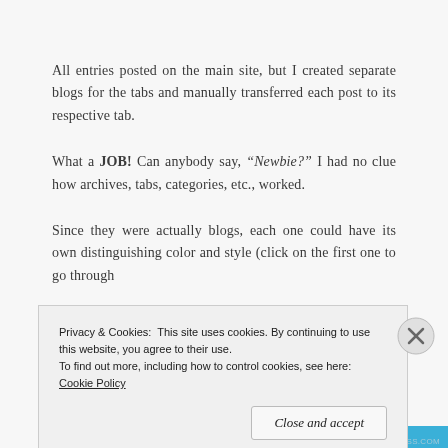All entries posted on the main site, but I created separate blogs for the tabs and manually transferred each post to its respective tab.
What a JOB! Can anybody say, “Newbie?” I had no clue how archives, tabs, categories, etc., worked.
Since they were actually blogs, each one could have its own distinguishing color and style (click on the first one to go through
Privacy & Cookies: This site uses cookies. By continuing to use this website, you agree to their use.
To find out more, including how to control cookies, see here: Cookie Policy
Close and accept